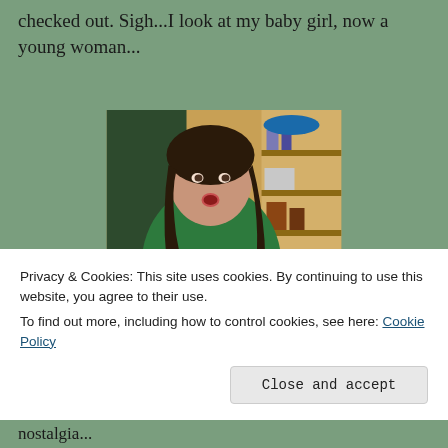checked out.  Sigh...I look at my baby girl, now a young woman...
[Figure (photo): A teenage girl with long dark hair, wearing a green t-shirt, sitting in a room with shelves and a pink item in her hands, mouth open as if speaking or singing.]
Privacy & Cookies: This site uses cookies. By continuing to use this website, you agree to their use.
To find out more, including how to control cookies, see here: Cookie Policy
Close and accept
nostalgia...